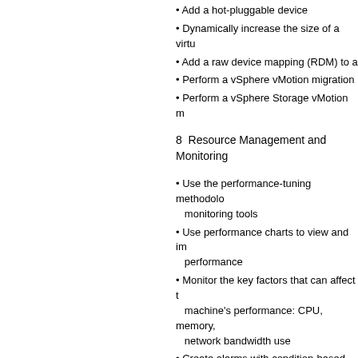Add a hot-pluggable device
Dynamically increase the size of a viru
Add a raw device mapping (RDM) to a
Perform a vSphere vMotion migration
Perform a vSphere Storage vMotion m
8  Resource Management and Monitoring
Use the performance-tuning methodology monitoring tools
Use performance charts to view and im performance
Monitor the key factors that can affect t machine's performance: CPU, memory, network bandwidth use
Create alarms with condition-based trig
Create alarms with event-based trigger
View and acknowledge triggered alarm
9  vSphere HA
Describe the options that you can conf your vSphere environment highly availa
Discuss the response of vSphere HA w host, a virtual machine, or an applicatio
10  vSphere DRS
Describe the functions of a vSphere DR
Create a vSphere DRS cluster